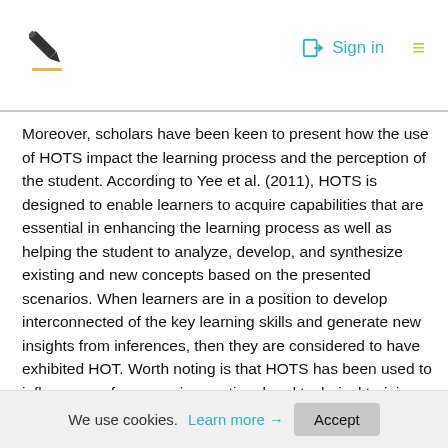Sign in
Moreover, scholars have been keen to present how the use of HOTS impact the learning process and the perception of the student. According to Yee et al. (2011), HOTS is designed to enable learners to acquire capabilities that are essential in enhancing the learning process as well as helping the student to analyze, develop, and synthesize existing and new concepts based on the presented scenarios. When learners are in a position to develop interconnected of the key learning skills and generate new insights from inferences, then they are considered to have exhibited HOT. Worth noting is that HOTS has been used to influence performance in vocational and technical training among learners. However, the focus of researchers has been on the effect
We use cookies. Learn more → Accept